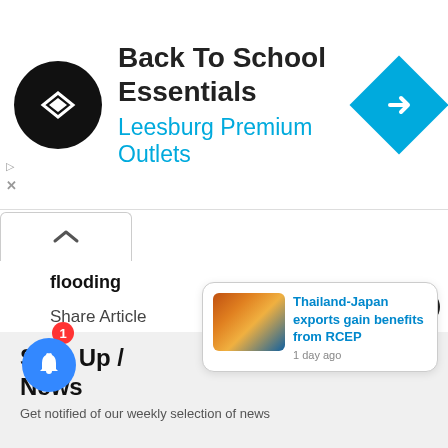[Figure (screenshot): Advertisement banner: Back To School Essentials - Leesburg Premium Outlets, with black circular logo and blue diamond navigation icon]
flooding
Share Article
Facebook  LinkedIn  Twitter  Mail  Line
Sign Up / News
Get notified of our weekly selection of news
[Figure (screenshot): Push notification popup: Thailand-Japan exports gain benefits from RCEP, 1 day ago, with shipping port image]